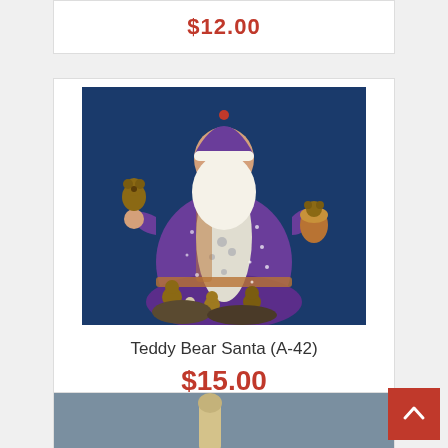$12.00
[Figure (photo): Ceramic figurine of a Santa Claus holding teddy bears, wearing a purple robe with white fur trim and a long white beard, surrounded by small teddy bear figures at the base, photographed against a dark blue background.]
Teddy Bear Santa (A-42)
$15.00
[Figure (photo): Partial view of another product figurine against a grey-blue background, only the top portion visible.]